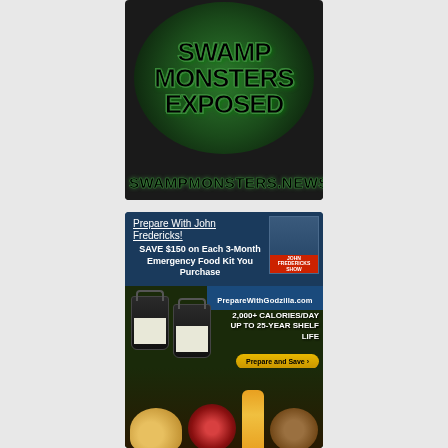[Figure (illustration): Advertisement banner for SwampMonsters.NEWS featuring bold text 'SWAMP MONSTERS EXPOSED' on a dark circular green background with the website URL at the bottom]
[Figure (illustration): Advertisement for PrepareWithGodzilla.com featuring John Fredericks, promoting emergency food kits with 'SAVE $150 on Each 3-Month Emergency Food Kit You Purchase', '2,000+ CALORIES/DAY', 'UP TO 25-YEAR SHELF LIFE', and a 'Prepare and Save' button, showing food buckets and meal images]